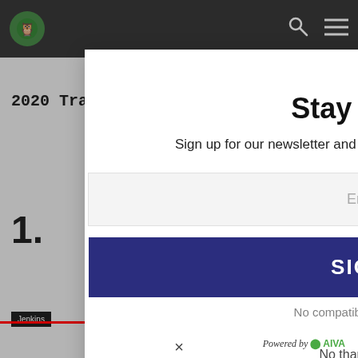[Figure (screenshot): Website navigation bar with owl logo, search icon, and hamburger menu on dark grey background]
[Figure (screenshot): Email newsletter signup modal overlay with dark navy envelope icon, title 'Stay Up To Date', subtitle text, email input field, sign me up button, and no thanks link]
Stay Up To Date
Sign up for our newsletter and get the latest listicles delivered to your inbox
Enter Your Email
SIGN ME UP
No compatible source was found for this media.
No thanks, I'm not interested
Powered by AIVA